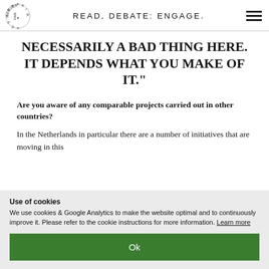READ, DEBATE: ENGAGE.
NECESSARILY A BAD THING HERE. IT DEPENDS WHAT YOU MAKE OF IT."
Are you aware of any comparable projects carried out in other countries?
In the Netherlands in particular there are a number of initiatives that are moving in this
Use of cookies
We use cookies & Google Analytics to make the website optimal and to continuously improve it. Please refer to the cookie instructions for more information. Learn more
Ok